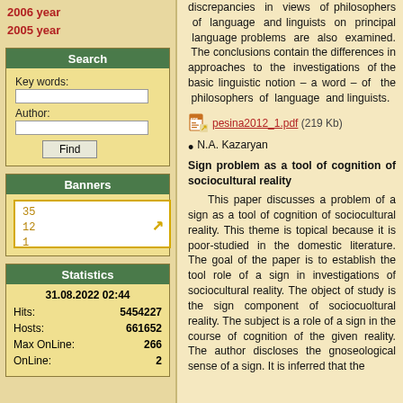2006 year
2005 year
Search
Key words:
Author:
Banners
Statistics
31.08.2022 02:44
Hits: 5454227
Hosts: 661652
Max OnLine: 266
OnLine: 2
discrepancies in views of philosophers of language and linguists on principal language problems are also examined. The conclusions contain the differences in approaches to the investigations of the basic linguistic notion – a word – of the philosophers of language and linguists.
pesina2012_1.pdf (219 Kb)
N.A. Kazaryan
Sign problem as a tool of cognition of sociocultural reality
This paper discusses a problem of a sign as a tool of cognition of sociocultural reality. This theme is topical because it is poor-studied in the domestic literature. The goal of the paper is to establish the tool role of a sign in investigations of sociocultural reality. The object of study is the sign component of sociocuoltural reality. The subject is a role of a sign in the course of cognition of the given reality. The author discloses the gnoseological sense of a sign. It is inferred that the